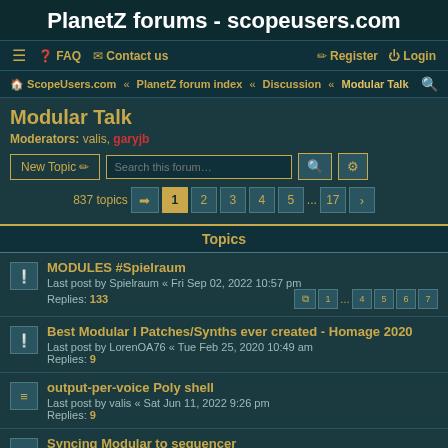PlanetZ forums - scopeusers.com
☰  FAQ  ✉ Contact us    Register  Login
ScopeUsers.com « PlanetZ forum index « Discussion « Modular Talk
Modular Talk
Moderators: valis, garyjb
New Topic  Search this forum…
837 topics  1 2 3 4 5 ... 17 >
Topics
MODULES #Spielraum
Last post by Spielraum « Fri Sep 02, 2022 10:57 pm
Replies: 133
1 ... 4 5 6 7
Best Modular I Patches/Synths ever created - Homage 2020
Last post by LorenOA76 « Tue Feb 25, 2020 10:49 am
Replies: 9
output-per-voice Poly shell
Last post by valis « Sat Jun 11, 2022 9:26 pm
Replies: 9
Syncing Modular to sequencer
Last post by Spielraum « Wed Jan 12, 2022 2:14 am
Replies: 12
Tape-Delay video